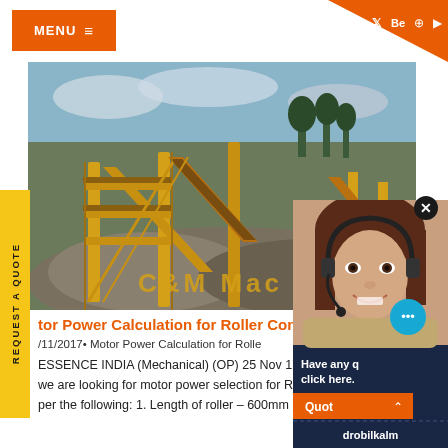MENU ≡
[Figure (photo): Industrial conveyor/crusher machinery yard with yellow equipment against sky background, with text C&M Mac overlaid in orange]
REQUEST A QUOTE
Motor Power Calculation for Roller Conveyors
11/2017• Motor Power Calculation for Roller Conveyors
ESSENCE INDIA (Mechanical) (OP) 25 Nov 17–
we are looking for motor power selection for R
per the following: 1. Length of roller – 600mm
[Figure (photo): Customer service agent woman with headset, smiling, overlaid on dark navy panel with Have any questions? click here., Quote button, Enquiry link, and drobilkalm text]
Have any questions, click here.
Quote
Enquiry
drobilkalm